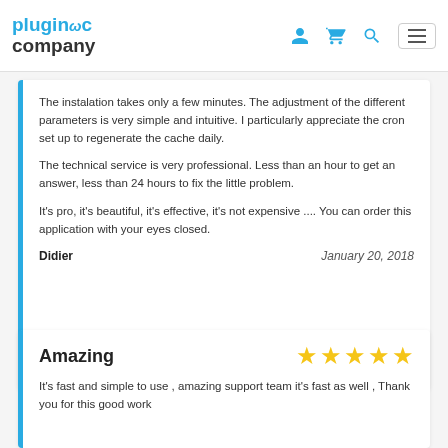plugincompany
The instalation takes only a few minutes. The adjustment of the different parameters is very simple and intuitive. I particularly appreciate the cron set up to regenerate the cache daily.

The technical service is very professional. Less than an hour to get an answer, less than 24 hours to fix the little problem.

It's pro, it's beautiful, it's effective, it's not expensive .... You can order this application with your eyes closed.
Didier — January 20, 2018
Amazing ★★★★★
It's fast and simple to use , amazing support team it's fast as well , Thank you for this good work